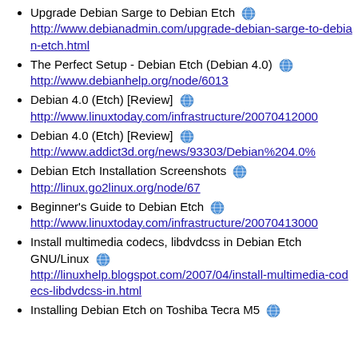Upgrade Debian Sarge to Debian Etch http://www.debianadmin.com/upgrade-debian-sarge-to-debian-etch.html
The Perfect Setup - Debian Etch (Debian 4.0) http://www.debianhelp.org/node/6013
Debian 4.0 (Etch) [Review] http://www.linuxtoday.com/infrastructure/20070412000...
Debian 4.0 (Etch) [Review] http://www.addict3d.org/news/93303/Debian%204.0%...
Debian Etch Installation Screenshots http://linux.go2linux.org/node/67
Beginner's Guide to Debian Etch http://www.linuxtoday.com/infrastructure/20070413000...
Install multimedia codecs, libdvdcss in Debian Etch GNU/Linux http://linuxhelp.blogspot.com/2007/04/install-multimedia-codecs-libdvdcss-in.html
Installing Debian Etch on Toshiba Tecra M5